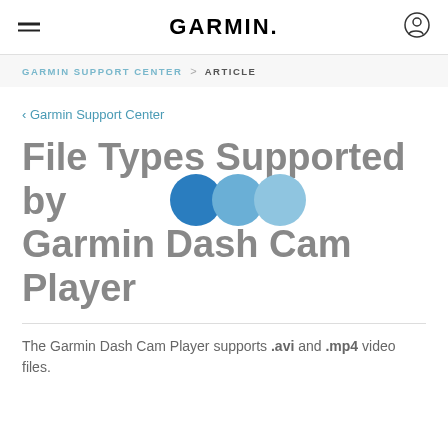GARMIN.
GARMIN SUPPORT CENTER > ARTICLE
< Garmin Support Center
File Types Supported by Garmin Dash Cam Player
The Garmin Dash Cam Player supports .avi and .mp4 video files.